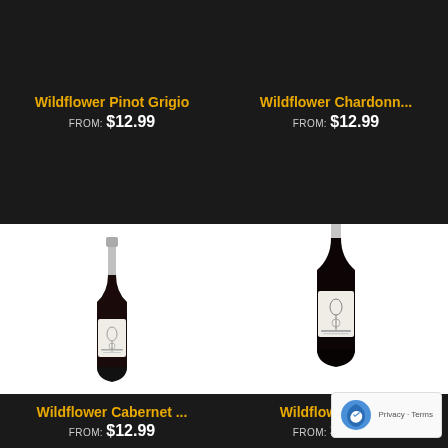[Figure (photo): Wine product listing grid: top-left shows Wildflower Pinot Grigio label bar with no bottle visible, top-right shows Wildflower Chardonnay label bar. Bottom-left shows small wine bottle (Wildflower Cabernet) with label bar below. Bottom-right shows larger wine bottle (Wildflower Shiraz) with label bar below. A reCAPTCHA badge appears in the bottom-right corner.]
Wildflower Pinot Grigio FROM: $12.99
Wildflower Chardonn... FROM: $12.99
Wildflower Cabernet ... FROM: $12.99
Wildflower Shir... FROM: $12.99